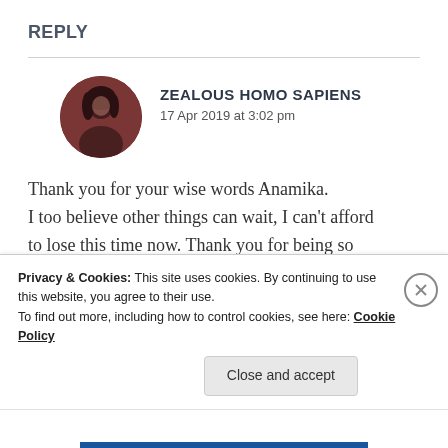REPLY
ZEALOUS HOMO SAPIENS
17 Apr 2019 at 3:02 pm
Thank you for your wise words Anamika. I too believe other things can wait, I can't afford to lose this time now. Thank you for being so understanding and cooperative. Your words are much appreciated
Privacy & Cookies: This site uses cookies. By continuing to use this website, you agree to their use.
To find out more, including how to control cookies, see here: Cookie Policy
Close and accept